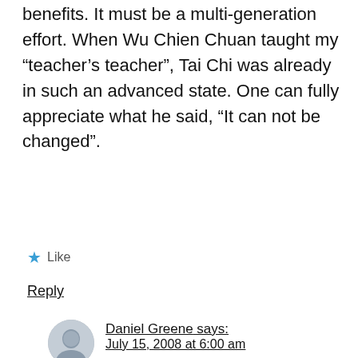benefits. It must be a multi-generation effort. When Wu Chien Chuan taught my “teacher’s teacher”, Tai Chi was already in such an advanced state. One can fully appreciate what he said, “It can not be changed”.
★ Like
Reply
Daniel Greene says: July 15, 2008 at 6:00 am
👍 0 👎 1 ⓘ Rate This
I am open to progress as long as you don’t run people over. I still don’t see any deaf